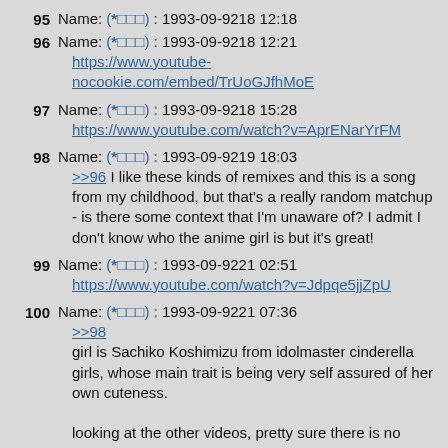95 Name: (*□□□) : 1993-09-9218 12:18
96 Name: (*□□□) : 1993-09-9218 12:21
https://www.youtube-nocookie.com/embed/TrUoGJfhMoE
97 Name: (*□□□) : 1993-09-9218 15:28
https://www.youtube.com/watch?v=AprENarYrFM
98 Name: (*□□□) : 1993-09-9219 18:03
>>96 I like these kinds of remixes and this is a song from my childhood, but that's a really random matchup - is there some context that I'm unaware of? I admit I don't know who the anime girl is but it's great!
99 Name: (*□□□) : 1993-09-9221 02:51
https://www.youtube.com/watch?v=Jdpqe5jjZpU
100 Name: (*□□□) : 1993-09-9221 07:36
>>98
girl is Sachiko Koshimizu from idolmaster cinderella girls, whose main trait is being very self assured of her own cuteness.
looking at the other videos, pretty sure there is no special